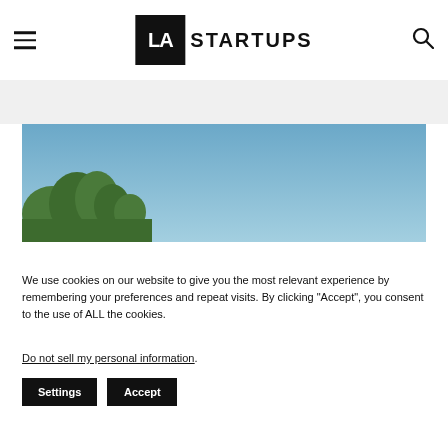LA STARTUPS
[Figure (photo): Outdoor photo showing blue sky with green trees/foliage in the lower left corner]
We use cookies on our website to give you the most relevant experience by remembering your preferences and repeat visits. By clicking “Accept”, you consent to the use of ALL the cookies.
Do not sell my personal information.
Settings  Accept